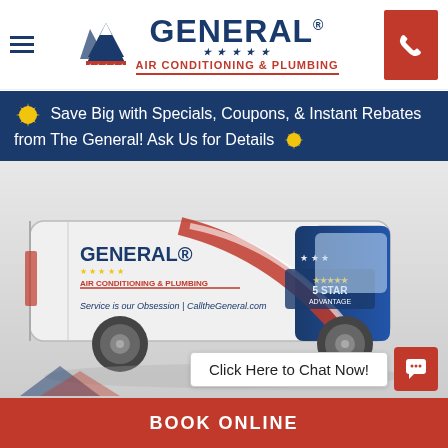[Figure (logo): General Air Conditioning & Plumbing logo with mountain icon and stars]
Save Big with Specials, Coupons, & Instant Rebates from The General! Ask Us for Details
[Figure (photo): General Air Conditioning & Plumbing branded service van with patriotic design, text: Service is our Obsession | CalltheGeneral.com, 5 STAR Advantage]
Click Here to Chat Now!
BOOK ONLINE